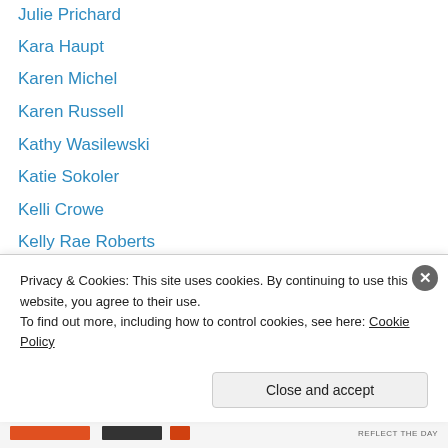Julie Prichard
Kara Haupt
Karen Michel
Karen Russell
Kathy Wasilewski
Katie Sokoler
Kelli Crowe
Kelly Rae Roberts
Kimberly Brimhall
Kris Hurst
Kristina Contes
Lain Ehmann
Layle Koncar
Linda Albrecht
Privacy & Cookies: This site uses cookies. By continuing to use this website, you agree to their use. To find out more, including how to control cookies, see here: Cookie Policy
Close and accept